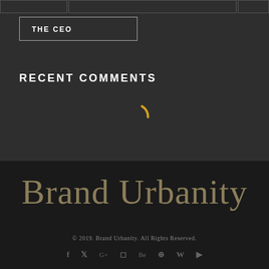THE CEO
RECENT COMMENTS
[Figure (other): Loading spinner icon (arc shape in gold/yellow color)]
Brand Urbanity
© 2019. Brand Urbanity. All Rights Reserved.
Social media icons: f (Facebook), Twitter, G+, Instagram, Be (Behance), Pinterest, WordPress, YouTube